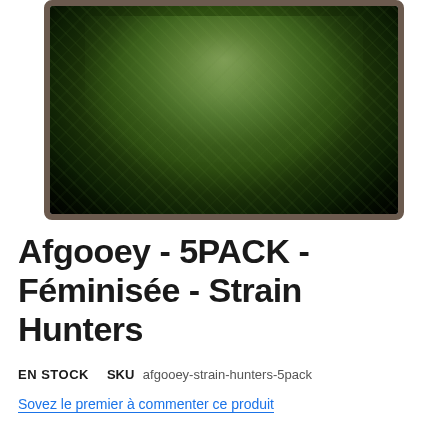[Figure (photo): Close-up photo of a cannabis plant with frosty green buds and leaves against a dark black background, showing trichomes on the flowers.]
Afgooey - 5PACK - Féminisée - Strain Hunters
EN STOCK   SKU  afgooey-strain-hunters-5pack
Sovez le premier à commenter ce produit